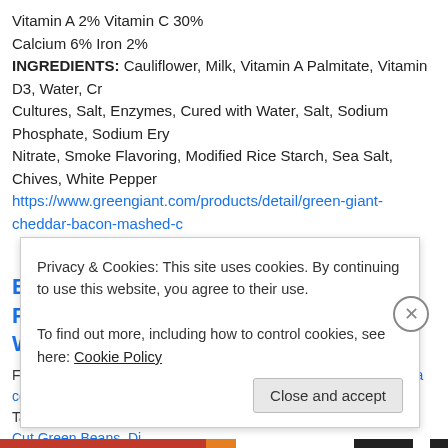Vitamin A 2% Vitamin C 30%
Calcium 6% Iron 2%
INGREDIENTS: Cauliflower, Milk, Vitamin A Palmitate, Vitamin D3, Water, Cr
Cultures, Salt, Enzymes, Cured with Water, Salt, Sodium Phosphate, Sodium Ery
Nitrate, Smoke Flavoring, Modified Rice Starch, Sea Salt, Chives, White Pepper
https://www.greengiant.com/products/detail/green-giant-cheddar-bacon-mashed-c
Boneless Pork Loin Fillet w/ Mashed Potatoes, Cut Green Whole Grain Bread
February 22, 2017 at 6:31 PM | Posted in Swift Premium | Leave a comment
Tags: Baking, Bob Evan's Mashed Potatoes, Cooking, Del Monte Cut Green Beans, Di Haug Waush BBQ Sauce, Pork, recipes, Swift Premium Dry Rubbed Whiskey Black Pe Fillet
Today's Menu: Boneless Pork Loin Fillet w/ Mashed Potatoes, Cut Green Beans,
Privacy & Cookies: This site uses cookies. By continuing to use this website, you agree to their use.
To find out more, including how to control cookies, see here: Cookie Policy
Close and accept